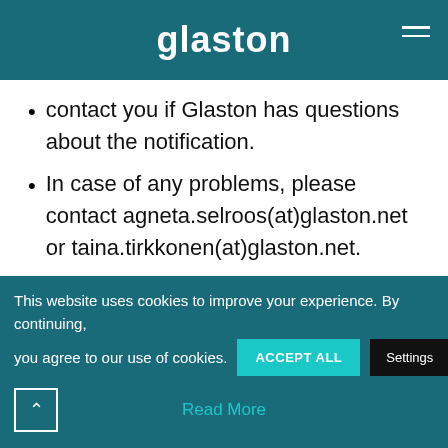glaston
contact you if Glaston has questions about the notification.
In case of any problems, please contact agneta.selroos(at)glaston.net or taina.tirkkonen(at)glaston.net.
Glaston will publish the notification as a stock exchange release without delay after the notification has been received.
More information on the regulation of
This website uses cookies to improve your experience. By continuing, you agree to our use of cookies.
Read More